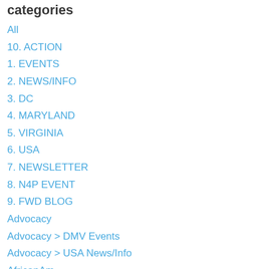categories
All
10. ACTION
1. EVENTS
2. NEWS/INFO
3. DC
4. MARYLAND
5. VIRGINIA
6. USA
7. NEWSLETTER
8. N4P EVENT
9. FWD BLOG
Advocacy
Advocacy > DMV Events
Advocacy > USA News/Info
AfricanAm
AfricanAm > DMV Events
Campaigns
Campaigns > DMV Events
Campaigns > News/Info
Career